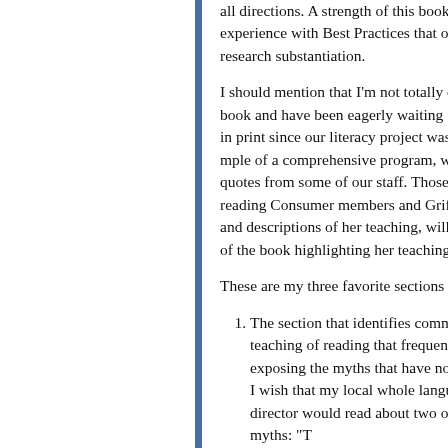all directions. A strength of this bo... intimate experience with Best Prac... often have no research substantiatio...
I should mention that I'm not totally... about this book and have been eage... waiting for it to come out in print s... literacy project was used as one exa... comprehensive program, with inter... quotes from some of our staff. Tho... who enjoy reading Consumer mem... Griffin's commentary and descripti... teaching, will also find a section of... highlighting her teaching.
These are my three favorite section... book:
The section that identifies co... fallacies in the teaching of re... frequently surface, boldly ex... myths that have no research b... wish that my local whole lan... curriculum director would re... two of her favorite myths: "T...